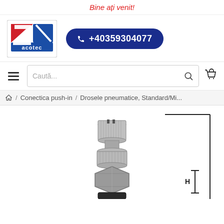Bine ați venit!
[Figure (logo): Acotec company logo with red and blue geometric design and 'acotec' text]
+40359304077
Caută...
/ Conectica push-in / Drosele pneumatice, Standard/Mi...
[Figure (photo): Pneumatic push-in fitting / throttle valve component, metal with knurled adjustment knob and threaded body, shown with dimension indicator line on the right side]